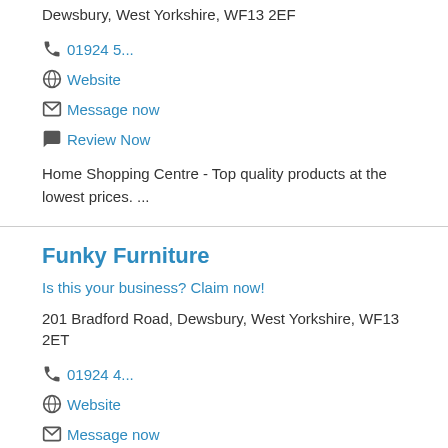Dewsbury, West Yorkshire, WF13 2EF
01924 5...
Website
Message now
Review Now
Home Shopping Centre - Top quality products at the lowest prices. ...
Funky Furniture
Is this your business? Claim now!
201 Bradford Road, Dewsbury, West Yorkshire, WF13 2ET
01924 4...
Website
Message now
Review Now